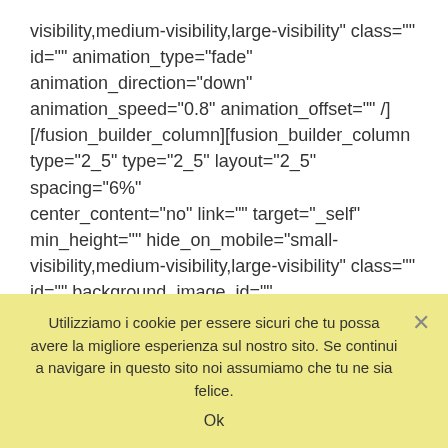visibility,medium-visibility,large-visibility" class="" id="" animation_type="fade" animation_direction="down" animation_speed="0.8" animation_offset="" /][/fusion_builder_column][fusion_builder_column type="2_5" type="2_5" layout="2_5" spacing="6%" center_content="no" link="" target="_self" min_height="" hide_on_mobile="small-visibility,medium-visibility,large-visibility" class="" id="" background_image_id="" background_color="" background_image="" background_position="left
Utilizziamo i cookie per essere sicuri che tu possa avere la migliore esperienza sul nostro sito. Se continui a navigare in questo sito noi assumiamo che tu ne sia felice.
Ok